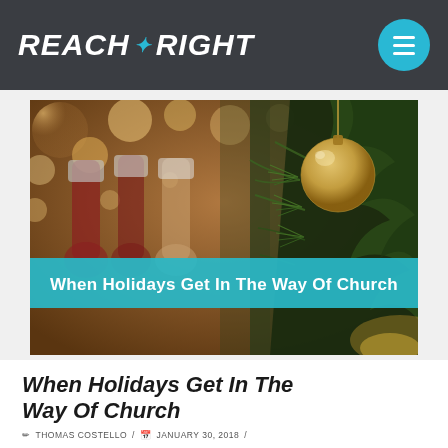REACH ✦ RIGHT
[Figure (photo): Christmas themed photo showing hanging stockings in bokeh background on the left, and a pine tree branch with a golden ornament ball hanging from it on the right, with a teal banner overlay reading: When Holidays Get In The Way Of Church]
When Holidays Get In The Way Of Church
✏ THOMAS COSTELLO / 📅 JANUARY 30, 2018 /